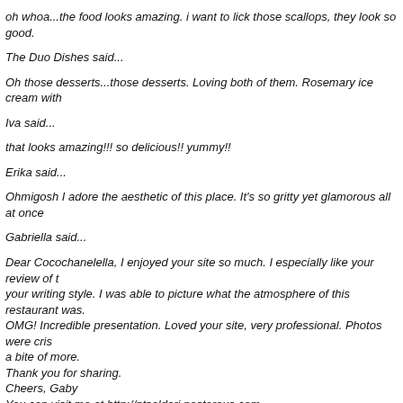oh whoa...the food looks amazing. i want to lick those scallops, they look so good.
The Duo Dishes said...
Oh those desserts...those desserts. Loving both of them. Rosemary ice cream with
Iva said...
that looks amazing!!! so delicious!! yummy!!
Erika said...
Ohmigosh I adore the aesthetic of this place. It's so gritty yet glamorous all at once
Gabriella said...
Dear Cocochanelella, I enjoyed your site so much. I especially like your review of t your writing style. I was able to picture what the atmosphere of this restaurant was. OMG! Incredible presentation. Loved your site, very professional. Photos were cris a bite of more.
Thank you for sharing.
Cheers, Gaby
You can visit me at http://ntsaldari.posterous.com